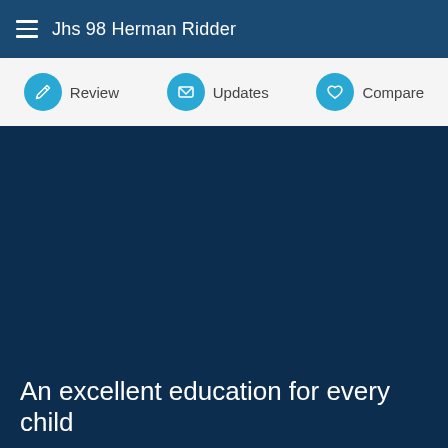Jhs 98 Herman Ridder
Review
Updates
Compare
An excellent education for every child